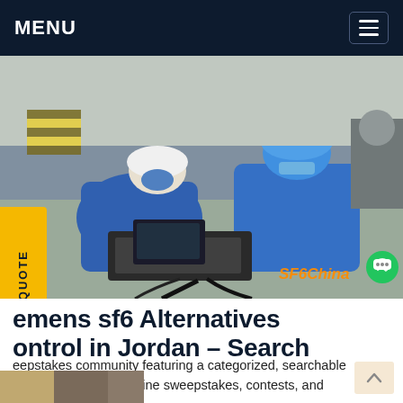MENU
[Figure (photo): Two workers in blue uniforms and hard hats crouching on the floor working on electrical equipment with cables. SF6China watermark in bottom right corner.]
emens sf6 Alternatives ontrol in Jordan – Search
eepstakes community featuring a categorized, searchable directory of current online sweepstakes, contests, and giveaways.Get price